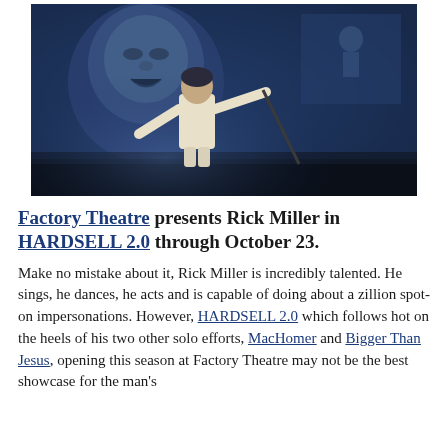[Figure (photo): A performer in a white suit on a dark stage with dramatic blue lighting. Behind him is a large projection screen showing a close-up of a baby's face on the left and a smaller image of a figure on the right. The performer has his arms outstretched.]
Factory Theatre presents Rick Miller in HARDSELL 2.0 through October 23.
Make no mistake about it, Rick Miller is incredibly talented. He sings, he dances, he acts and is capable of doing about a zillion spot-on impersonations. However, HARDSELL 2.0 which follows hot on the heels of his two other solo efforts, MacHomer and Bigger Than Jesus, opening this season at Factory Theatre may not be the best showcase for the man's